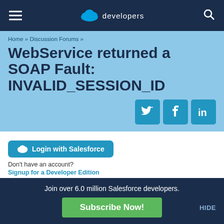salesforce developers
Home » Discussion Forums »
WebService returned a SOAP Fault: INVALID_SESSION_ID
[Figure (logo): Twitter, Facebook, LinkedIn social share icons]
[Figure (logo): Login with Salesforce button]
Don't have an account?
Signup for a Developer Edition
Browse by Topic
Apex Code Development (88313)
Join over 6.0 million Salesforce developers.
Subscribe Now!
HIDE